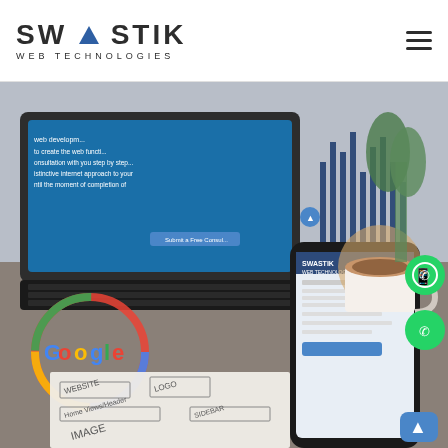SWASTIK WEB TECHNOLOGIES
[Figure (screenshot): Hero image showing a web design workspace with a laptop displaying a website, a smartphone showing Swastik website, Google logo overlay, wireframe sketches, chart bars graphic overlay, a coffee cup, and green plant. WhatsApp button, phone button, and back-to-top button overlaid on the right side.]